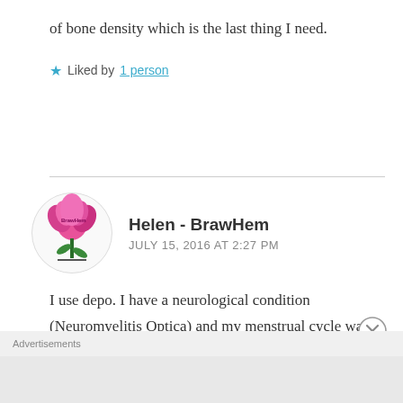of bone density which is the last thing I need.
★ Liked by 1 person
Helen - BrawHem
JULY 15, 2016 AT 2:27 PM
I use depo. I have a neurological condition (Neuromyelitis Optica) and my menstrual cycle was making my symptoms flare hugely. The depo stops my period and
Advertisements